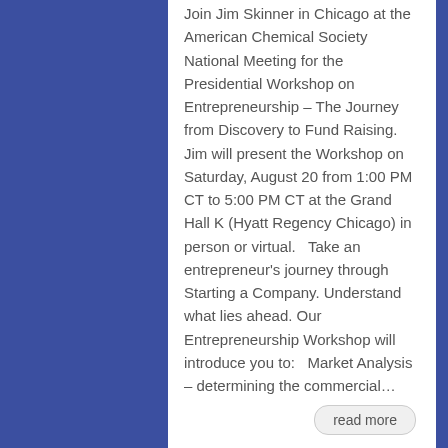Join Jim Skinner in Chicago at the American Chemical Society National Meeting for the Presidential Workshop on Entrepreneurship – The Journey from Discovery to Fund Raising. Jim will present the Workshop on Saturday, August 20 from 1:00 PM CT to 5:00 PM CT at the Grand Hall K (Hyatt Regency Chicago) in person or virtual.   Take an entrepreneur's journey through Starting a Company. Understand what lies ahead. Our Entrepreneurship Workshop will introduce you to:   Market Analysis – determining the commercial…
read more
Registration for the 2022